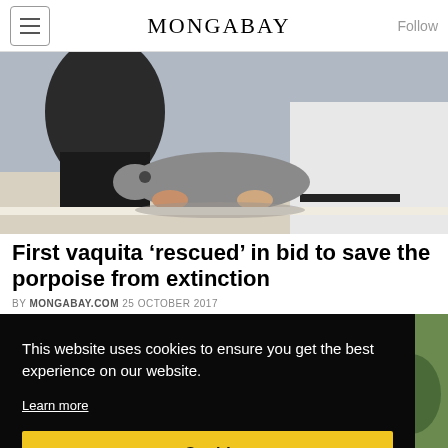MONGABAY   Follow
[Figure (photo): People handling a small vaquita porpoise on what appears to be a boat deck]
First vaquita ‘rescued’ in bid to save the porpoise from extinction
BY MONGABAY.COM 25 OCTOBER 2017
This website uses cookies to ensure you get the best experience on our website.
Learn more
Got it!
[Figure (photo): Partial bottom image, appears to be an animal or nature scene]